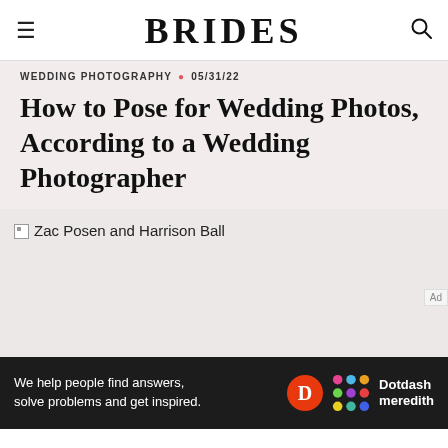BRIDES
WEDDING PHOTOGRAPHY • 05/31/22
How to Pose for Wedding Photos, According to a Wedding Photographer
[Figure (photo): Placeholder image for Zac Posen and Harrison Ball with a broken image icon and alt text]
Ad
We help people find answers, solve problems and get inspired. Dotdash meredith